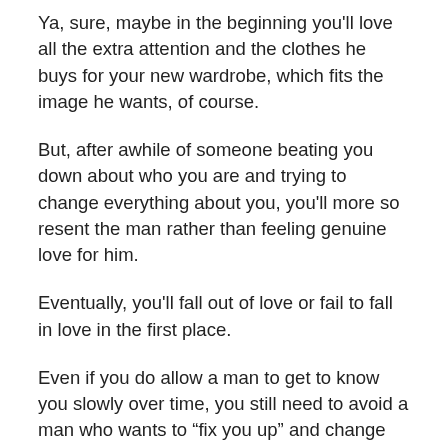Ya, sure, maybe in the beginning you'll love all the extra attention and the clothes he buys for your new wardrobe, which fits the image he wants, of course.
But, after awhile of someone beating you down about who you are and trying to change everything about you, you'll more so resent the man rather than feeling genuine love for him.
Eventually, you'll fall out of love or fail to fall in love in the first place.
Even if you do allow a man to get to know you slowly over time, you still need to avoid a man who wants to “fix you up” and change everything about you.
You deserve a man that will appreciate and love you for the person that you are! If a man can’t, then he’s just not